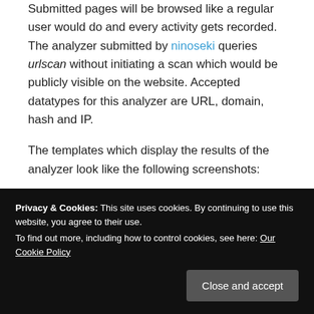Submitted pages will be browsed like a regular user would do and every activity gets recorded. The analyzer submitted by ninoseki queries urlscan without initiating a scan which would be publicly visible on the website. Accepted datatypes for this analyzer are URL, domain, hash and IP.
The templates which display the results of the analyzer look like the following screenshots:
[Figure (screenshot): Orange button/tag showing: urlscan.io:Search="2 results"]
Privacy & Cookies: This site uses cookies. By continuing to use this website, you agree to their use. To find out more, including how to control cookies, see here: Our Cookie Policy